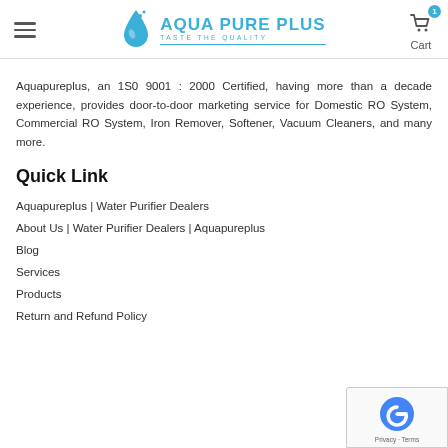AQUA PURE PLUS - TASTE THE QUALITY
Aquapureplus, an 1S0 9001 : 2000 Certified, having more than a decade experience, provides door-to-door marketing service for Domestic RO System, Commercial RO System, Iron Remover, Softener, Vacuum Cleaners, and many more.
Quick Link
Aquapureplus | Water Purifier Dealers
About Us | Water Purifier Dealers | Aquapureplus
Blog
Services
Products
Return and Refund Policy